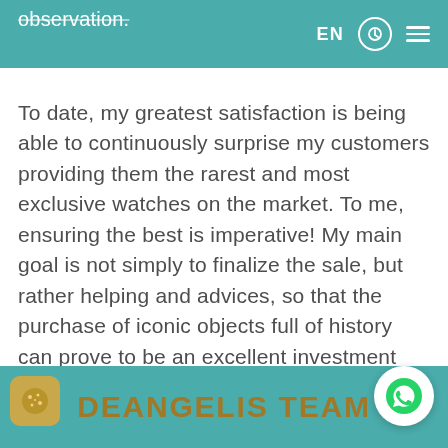observation. EN [clock icon] [menu icon]
To date, my greatest satisfaction is being able to continuously surprise my customers providing them the rarest and most exclusive watches on the market. To me, ensuring the best is imperative! My main goal is not simply to finalize the sale, but rather helping and advices, so that the purchase of iconic objects full of history can prove to be an excellent investment over time.
DEANGELIS TEAM